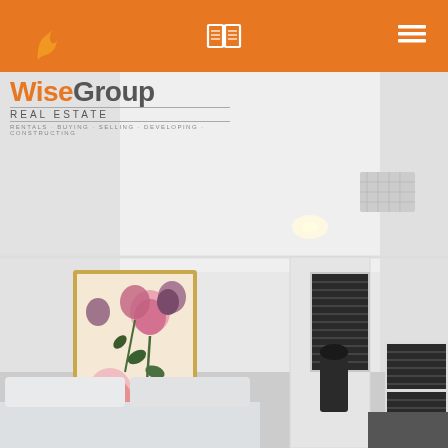WiseGroup Real Estate header bar with book icon and hamburger menu
[Figure (logo): WiseGroup Real Estate logo with orange bird/flame icon, orange 'Wise' and grey 'Group' text, 'REAL ESTATE' subtitle, tagline 'RENTALS · BUYING · SELLING · DEVELOPING · CONSTRUCTING']
[Figure (photo): Interior bedroom photo showing white walls, white ceiling with recessed lighting and ventilation grille, a framed floral artwork with pink and purple flowers on the left wall, white plantation shutters on windows, and the edge of a bed with dark bedding in the foreground]